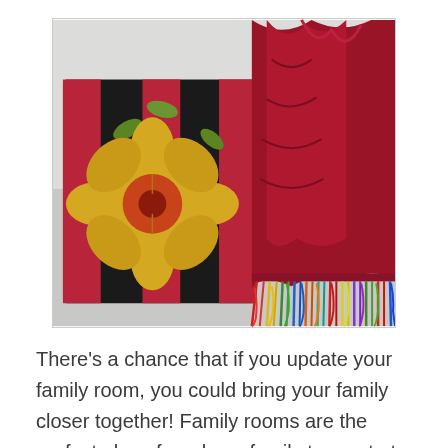[Figure (photo): A decorative throw blanket in deep red/crimson with colorful multicolored fringe at the bottom, draped over a white sofa, next to a decorative pillow with a floral design featuring a large yellow flower on a dark background with red and green stripes.]
There's a chance that if you update your family room, you could bring your family closer together! Family rooms are the perfect place for a busy family to meet at the end of the day or on the weekends to spend time together.  Usually there's